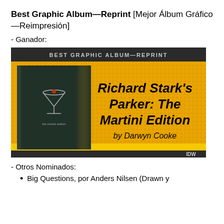Best Graphic Album—Reprint [Mejor Álbum Gráfico—Reimpresión]
- Ganador:
[Figure (illustration): Award graphic for Best Graphic Album—Reprint showing Richard Stark's Parker: The Martini Edition by Darwyn Cooke, published by IDW. Gold/yellow textured background with black border and yellow stripes. Book cover shown on left side.]
- Otros Nominados:
Big Questions, por Anders Nilsen (Drawn y